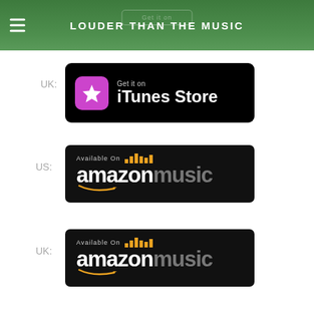LOUDER THAN THE MUSIC
UK:
[Figure (logo): Get it on iTunes Store badge - black rounded rectangle with pink/purple star icon and white text reading 'Get it on iTunes Store']
US:
[Figure (logo): Available on Amazon Music badge - dark rounded rectangle with Amazon logo in white and 'music' in grey, equalizer bars in orange/yellow, 'Available On' text above]
UK:
[Figure (logo): Available on Amazon Music badge - dark rounded rectangle with Amazon logo in white and 'music' in grey, equalizer bars in orange/yellow, 'Available On' text above]